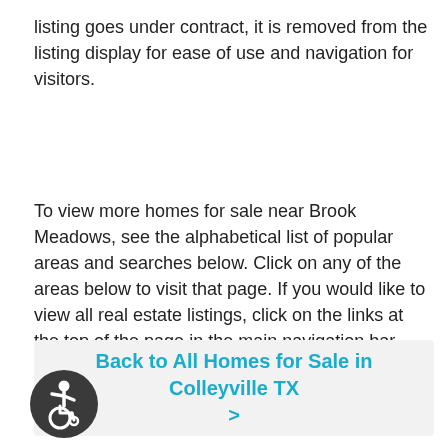listing goes under contract, it is removed from the listing display for ease of use and navigation for visitors.
To view more homes for sale near Brook Meadows, see the alphabetical list of popular areas and searches below. Click on any of the areas below to visit that page. If you would like to view all real estate listings, click on the links at the top of the page in the main navigation bar.
Back to All Homes for Sale in Colleyville TX >
[Figure (illustration): Accessibility icon — circular badge with wheelchair user symbol on dark background]